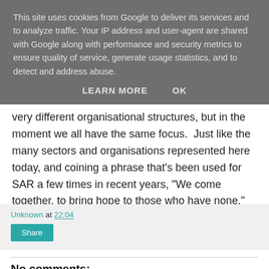This site uses cookies from Google to deliver its services and to analyze traffic. Your IP address and user-agent are shared with Google along with performance and security metrics to ensure quality of service, generate usage statistics, and to detect and address abuse.
LEARN MORE   OK
very different organisational structures, but in the moment we all have the same focus.  Just like the many sectors and organisations represented here today, and coining a phrase that’s been used for SAR a few times in recent years, “We come together, to bring hope to those who have none.”
Unknown at 22:04
Share
No comments: